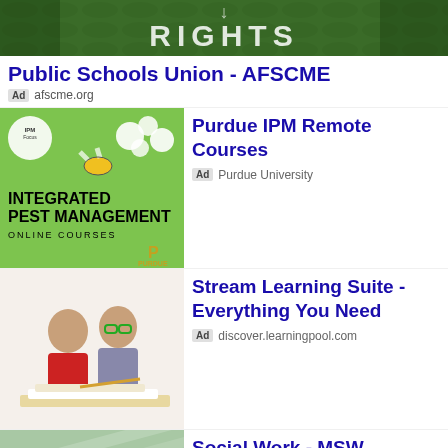[Figure (screenshot): Top banner with dark green leafy background and partial text 'RIGHTS']
Public Schools Union - AFSCME
Ad  afscme.org
[Figure (photo): Integrated Pest Management Online Courses ad image with bee and flowers, Purdue University logo]
Purdue IPM Remote Courses
Ad  Purdue University
[Figure (photo): Two children reading/writing together at a desk]
Stream Learning Suite - Everything You Need
Ad  discover.learningpool.com
[Figure (photo): Classroom scene with students around a table, teal/green background]
Social Work - MSW Master's Degree
Ad  ekuonline.eku.edu